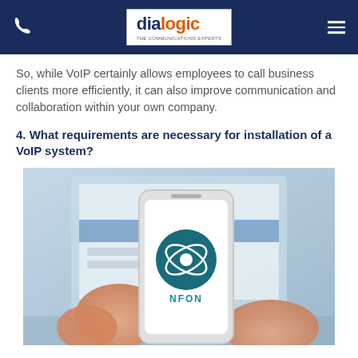dialogic
So, while VoIP certainly allows employees to call business clients more efficiently, it can also improve communication and collaboration within your own company.
4. What requirements are necessary for installation of a VoIP system?
[Figure (photo): Person holding a smartphone displaying the NFON app logo (teal circle with orbit lines and NFON text), with a laptop/monitor visible in the blurred background.]